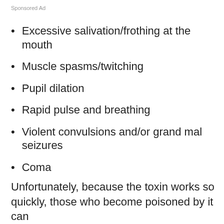Sponsored Ad
Excessive salivation/frothing at the mouth
Muscle spasms/twitching
Pupil dilation
Rapid pulse and breathing
Violent convulsions and/or grand mal seizures
Coma
Unfortunately, because the toxin works so quickly, those who become poisoned by it can